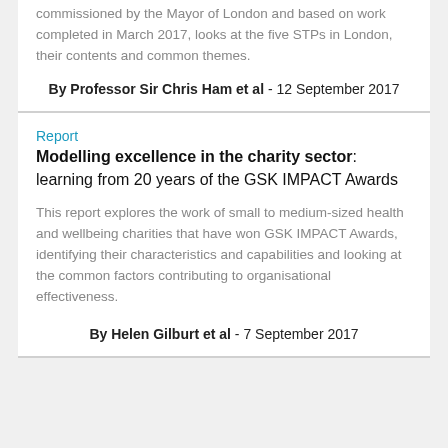commissioned by the Mayor of London and based on work completed in March 2017, looks at the five STPs in London, their contents and common themes.
By Professor Sir Chris Ham et al - 12 September 2017
Report
Modelling excellence in the charity sector: learning from 20 years of the GSK IMPACT Awards
This report explores the work of small to medium-sized health and wellbeing charities that have won GSK IMPACT Awards, identifying their characteristics and capabilities and looking at the common factors contributing to organisational effectiveness.
By Helen Gilburt et al - 7 September 2017